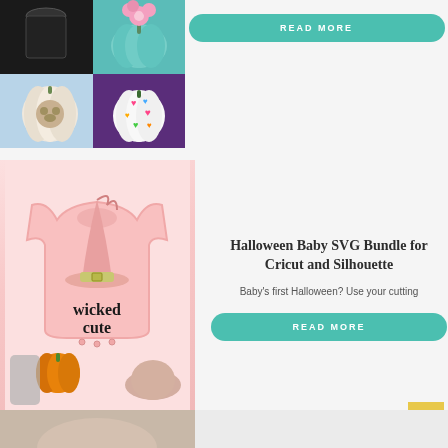[Figure (photo): Collage of four Halloween pumpkin images in a 2x2 grid: top-left dark trick or treat mug, top-right teal/mint cactus pumpkin with pink flower, bottom-left sloth painted pumpkin on blue background, bottom-right white pumpkin with colorful hearts on dark background]
READ MORE
[Figure (photo): Pink baby onesie with witch hat graphic and text 'wicked cute' printed on it, displayed with a small orange pumpkin, gray knit pants, and rose gold shoes]
Halloween Baby SVG Bundle for Cricut and Silhouette
Baby's first Halloween? Use your cutting
READ MORE
[Figure (photo): Partial view of another image at the bottom of the page]